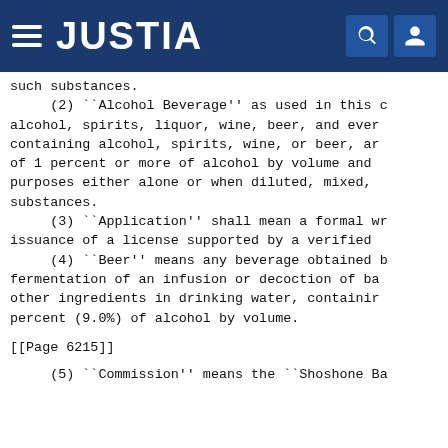JUSTIA
such substances.
    (2) ``Alcohol Beverage'' as used in this c alcohol, spirits, liquor, wine, beer, and ever containing alcohol, spirits, wine, or beer, ar of 1 percent or more of alcohol by volume and purposes either alone or when diluted, mixed, substances.
    (3) ``Application'' shall mean a formal wr issuance of a license supported by a verified
    (4) ``Beer'' means any beverage obtained b fermentation of an infusion or decoction of ba other ingredients in drinking water, containir percent (9.0%) of alcohol by volume.
[[Page 6215]]
(5) ``Commission'' means the ``Shoshone Ba